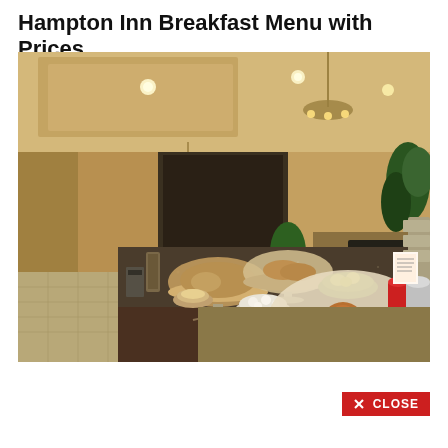Hampton Inn Breakfast Menu with Prices
[Figure (photo): Hampton Inn breakfast buffet spread showing a long granite countertop with multiple food items under glass domes, including muffins, pastries, bagels, and fruit, in a warm hotel dining area with chandeliers and decorative plants in the background.]
✕ CLOSE